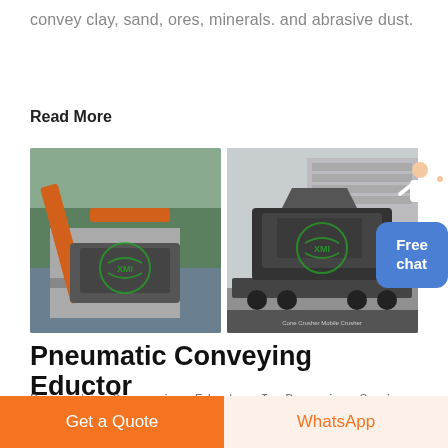convey clay, sand, ores, minerals. and abrasive dust.
Read More
[Figure (photo): Two industrial mining/crushing machines. Left: large orange and grey mechanical excavator/conveyor near a water body with trees in background. Right: a mobile jaw crusher on a trailer/truck in an industrial yard with a building in background. Both images have a green XMI recycling logo watermark.]
Pneumatic Conveying Eductor
Pneumatic Conveying Eductor In Brunei - Scaie Fox Solids Conveying Eductors for Pneumatic
Get a Quote
WhatsApp